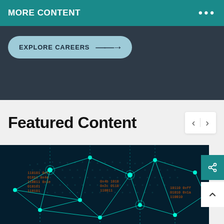MORE CONTENT
EXPLORE CAREERS →
Featured Content
[Figure (photo): Dark digital network visualization showing glowing teal geometric lines connecting nodes over a world map dotted background, with orange/red data text overlays, representing global data connectivity or cybersecurity]